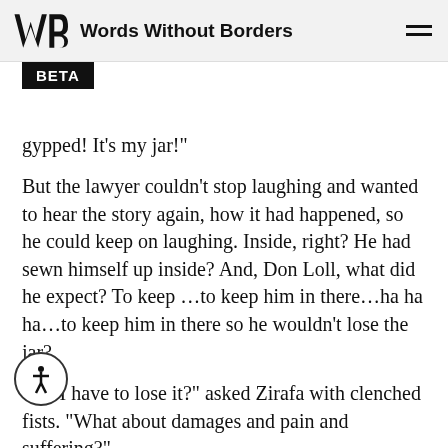Words Without Borders
gypped! It’s my jar!”
But the lawyer couldn’t stop laughing and wanted to hear the story again, how it had happened, so he could keep on laughing. Inside, right? He had sewn himself up inside? And, Don Loll, what did he expect? To keep…to keep him in there…ha ha ha…to keep him in there so he wouldn’t lose the jar?
“Do I have to lose it?” asked Zirafa with clenched fists. “What about damages and pain and suffering?”
“Do you know what this is called?” asked the